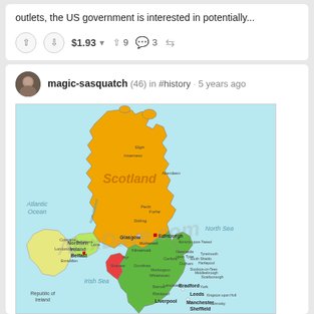outlets, the US government is interested in potentially...
$1.93 ▾  ^ 9  💬 3  ⇄
magic-sasquatch (46) in #history · 5 years ago
[Figure (map): Map of the British Isles showing Scotland (orange), Northern Ireland (yellow-green), Republic of Ireland (light yellow), England/Wales (green and red). Shows cities including Edinburgh, Glasgow, Belfast, Bradford, Leeds, Manchester, Sheffield, Liverpool, Newcastle upon Tyne, Carlisle, and others. Labels include Atlantic Ocean, North Sea, Irish Sea, and country/region names.]